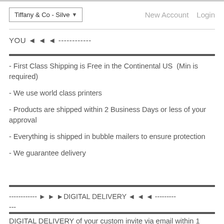Tiffany & Co - Silve   New Account   Login
YOU ◄ ◄ ◄ ------------
- First Class Shipping is Free in the Continental US  (Min is required)
- We use world class printers
- Products are shipped within 2 Business Days or less of your approval
- Everything is shipped in bubble mailers to ensure protection
- We guarantee delivery
------------ ► ► ►DIGITAL DELIVERY ◄ ◄ ◄ ---------
---
DIGITAL DELIVERY of your custom invite via email within 1 BUSINESS DAY!!!